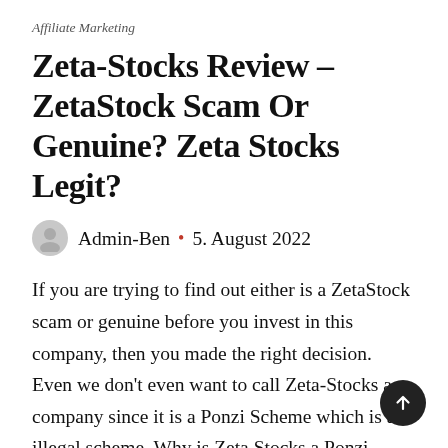Affiliate Marketing
Zeta-Stocks Review – ZetaStock Scam Or Genuine? Zeta Stocks Legit?
Admin-Ben • 5. August 2022
If you are trying to find out either is a ZetaStock scam or genuine before you invest in this company, then you made the right decision. Even we don't even want to call Zeta-Stocks a company since it is a Ponzi Scheme which is an illegal scheme. Why is Zeta Stocks a Ponzi Scheme? It is crystal